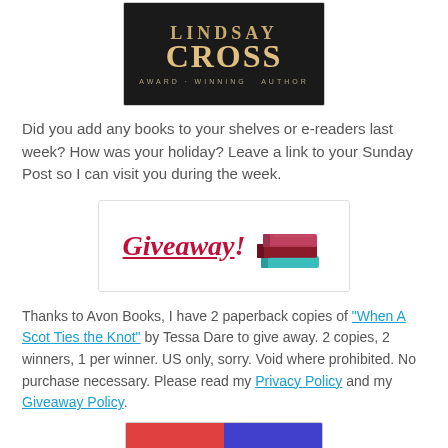[Figure (photo): Book cover or author banner for Lindsay Cross, Award-Winning Author, on dark background]
Did you add any books to your shelves or e-readers last week? How was your holiday? Leave a link to your Sunday Post so I can visit you during the week.
[Figure (illustration): Giveaway banner with cursive red text 'Giveaway!' and an illustration of stacked books]
Thanks to Avon Books, I have 2 paperback copies of "When A Scot Ties the Knot" by Tessa Dare to give away. 2 copies, 2 winners, 1 per winner. US only, sorry. Void where prohibited. No purchase necessary. Please read my Privacy Policy and my Giveaway Policy.
[Figure (illustration): Bottom banner image, partially visible, split red and blue]